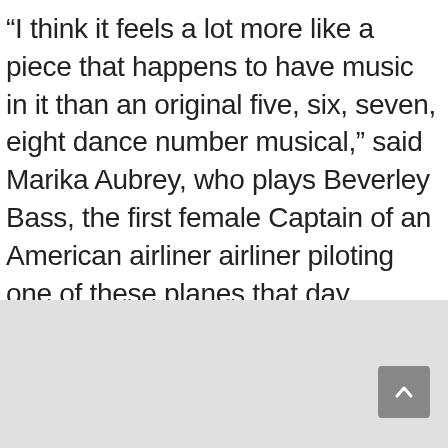“I think it feels a lot more like a piece that happens to have music in it than an original five, six, seven, eight dance number musical,” said Marika Aubrey, who plays Beverley Bass, the first female Captain of an American airliner airliner piloting one of these planes that day.